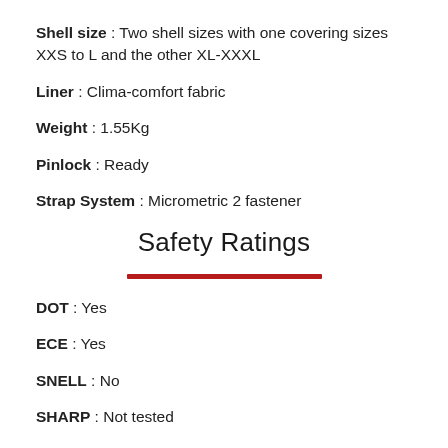Shell size : Two shell sizes with one covering sizes XXS to L and the other XL-XXXL
Liner : Clima-comfort fabric
Weight : 1.55Kg
Pinlock : Ready
Strap System : Micrometric 2 fastener
Safety Ratings
DOT : Yes
ECE : Yes
SNELL : No
SHARP : Not tested